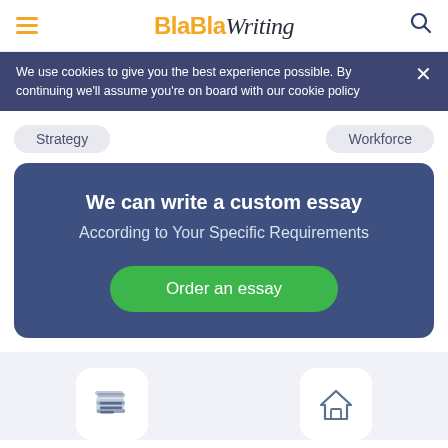BlaBlaWriting
We use cookies to give you the best experience possible. By continuing we'll assume you're on board with our cookie policy
Strategy
Workforce
We can write a custom essay
According to Your Specific Requirements
Order an essay
[Figure (illustration): Two icons at bottom: stacked papers/documents icon and a house/home icon]